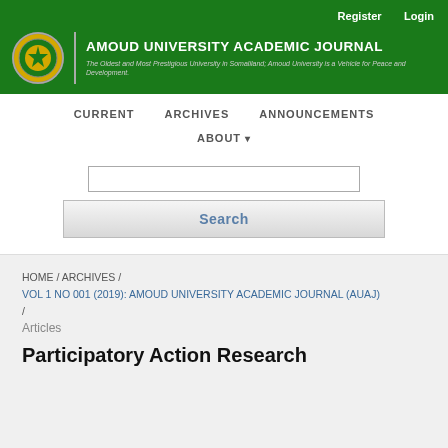Register   Login
AMOUD UNIVERSITY ACADEMIC JOURNAL
The Oldest and Most Prestigious University in Somaliland; Amoud University is a Vehicle for Peace and Development.
CURRENT   ARCHIVES   ANNOUNCEMENTS
ABOUT ▾
Search
HOME / ARCHIVES / VOL 1 NO 001 (2019): AMOUD UNIVERSITY ACADEMIC JOURNAL (AUAJ) / Articles
Participatory Action Research